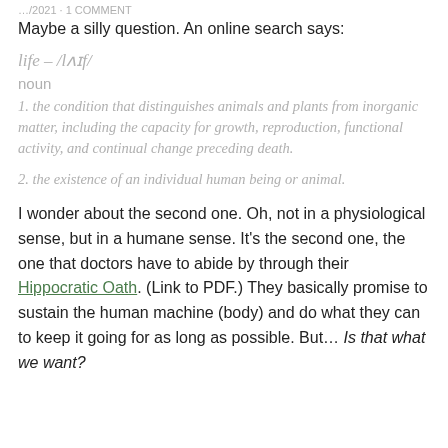…/2021 · 1 COMMENT
Maybe a silly question. An online search says:
life – /lʌɪf/
noun
1. the condition that distinguishes animals and plants from inorganic matter, including the capacity for growth, reproduction, functional activity, and continual change preceding death.
2. the existence of an individual human being or animal.
I wonder about the second one. Oh, not in a physiological sense, but in a humane sense. It's the second one, the one that doctors have to abide by through their Hippocratic Oath. (Link to PDF.) They basically promise to sustain the human machine (body) and do what they can to keep it going for as long as possible. But… Is that what we want?